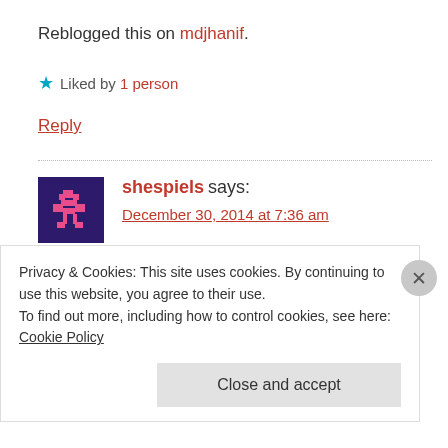Reblogged this on mdjhanif.
★ Liked by 1 person
Reply
shespiels says:
December 30, 2014 at 7:36 am
http://wp.me/p5uo5h-Z ... this will make you...
Privacy & Cookies: This site uses cookies. By continuing to use this website, you agree to their use.
To find out more, including how to control cookies, see here: Cookie Policy
Close and accept